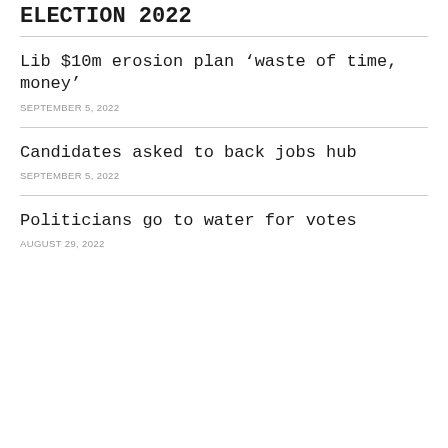ELECTION 2022
Lib $10m erosion plan ‘waste of time, money’
SEPTEMBER 5, 2022
Candidates asked to back jobs hub
SEPTEMBER 5, 2022
Politicians go to water for votes
AUGUST 29, 2022